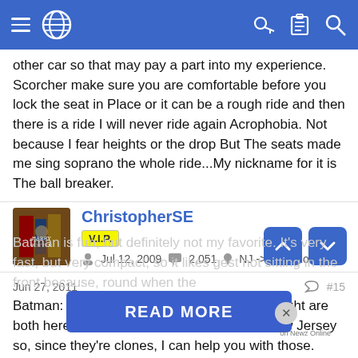Navigation bar with hamburger menu, globe icon, key icon, clipboard icon, search icon
other car so that may pay a part into my experience. Scorcher make sure you are comfortable before you lock the seat in Place or it can be a rough ride and then there is a ride I will never ride again Acrophobia. Not because I fear heights or the drop But The seats made me sing soprano the whole ride...My nickname for it is The ball breaker.
ChristopherSE
V.I.P.
Jul 12, 2009   2,051   NJ -> Orlando
Jun 27, 2011   #15
Batman: the Ride and Superman: Ultimate Flight are both here at Six Flags Great Adventure in New Jersey so, since they're clones, I can help you with those.
Batman is fun, but definitely not my favorite. It's very fast, but very compact, so it likes to suggest not sitting in the front because, around when the
READ MORE